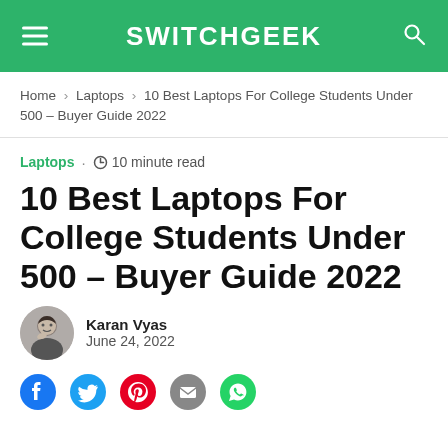SWITCHGEEK
Home > Laptops > 10 Best Laptops For College Students Under 500 – Buyer Guide 2022
Laptops · 10 minute read
10 Best Laptops For College Students Under 500 – Buyer Guide 2022
Karan Vyas
June 24, 2022
[Figure (other): Social share icons: Facebook, Twitter, Pinterest, Email, WhatsApp]